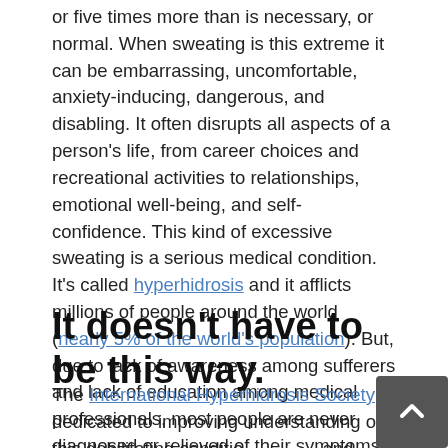or five times more than is necessary, or normal. When sweating is this extreme it can be embarrassing, uncomfortable, anxiety-inducing, dangerous, and disabling. It often disrupts all aspects of a person's life, from career choices and recreational activities to relationships, emotional well-being, and self-confidence. This kind of excessive sweating is a serious medical condition. It's called hyperhidrosis and it afflicts millions of people around the world (nearly 5% of the world's population). But, due to lack of awareness among sufferers and lack of education among medical professionals, most people are never diagnosed or relieved of their symptoms.
It doesn't have to be this way.
The International Hyperhidrosis Society is dedicated to improving understanding of this debilitating condition and helping sufferers get relief. If you or someone you